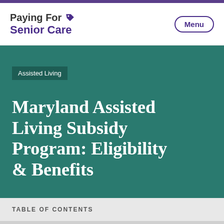Paying For Senior Care — Menu
Maryland Assisted Living Subsidy Program: Eligibility & Benefits
Assisted Living
TABLE OF CONTENTS